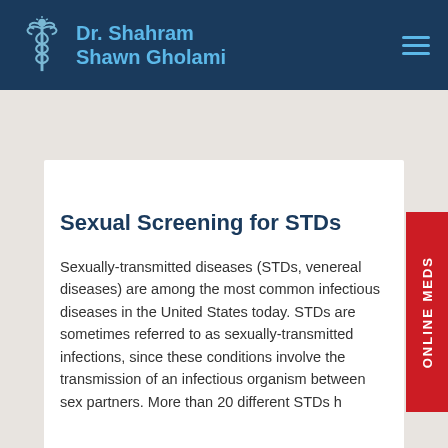Dr. Shahram Shawn Gholami
Sexual Screening for STDs
Sexually-transmitted diseases (STDs, venereal diseases) are among the most common infectious diseases in the United States today. STDs are sometimes referred to as sexually-transmitted infections, since these conditions involve the transmission of an infectious organism between sex partners. More than 20 different STDs h...